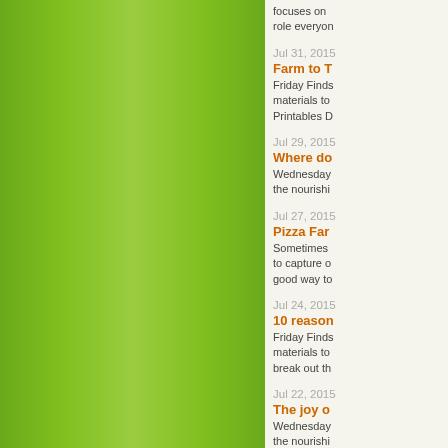[Figure (illustration): Green gradient sidebar panel on the left side of the page]
focuses on role everyone
Jul 31, 2015 — Farm to T — Friday Finds materials to Printables D
Jul 29, 2015 — Where do — Wednesday the nourishi
Jul 27, 2015 — Pizza Far — Sometimes to capture o good way to
Jul 24, 2015 — 10 reason — Friday Finds materials to break out th
Jul 22, 2015 — The joy o — Wednesday the nourishi
Jul 20, 2015 — Put on yo